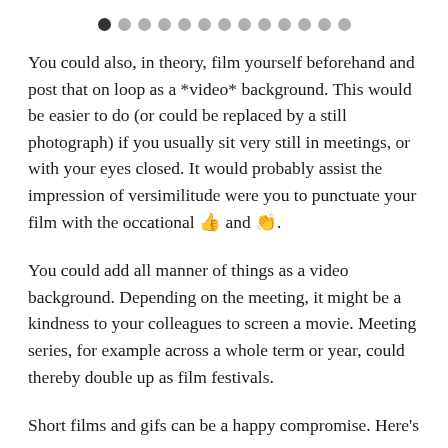● ● ● ● ● ● ● ● ● ● ● ● ●
You could also, in theory, film yourself beforehand and post that on loop as a *video* background. This would be easier to do (or could be replaced by a still photograph) if you usually sit very still in meetings, or with your eyes closed. It would probably assist the impression of versimilitude were you to punctuate your film with the occational 👍 and 👏.
You could add all manner of things as a video background. Depending on the meeting, it might be a kindness to your colleagues to screen a movie. Meeting series, for example across a whole term or year, could thereby double up as film festivals.
Short films and gifs can be a happy compromise. Here's